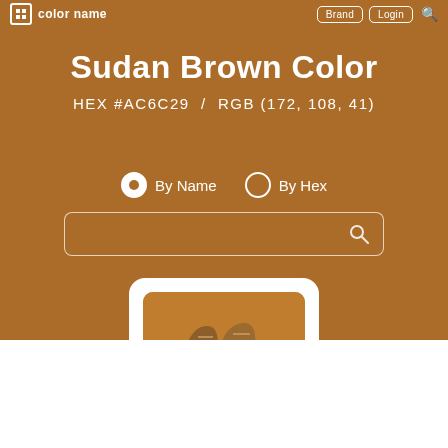color name  |  Brand  Login
Sudan Brown Color
HEX #AC6C29 / RGB (172, 108, 41)
By Name  By Hex
[Figure (screenshot): Search bar with magnifier icon on a sudan brown background]
[Figure (photo): Photo of brown hiking boots displayed in a white rounded card frame against sudan brown background]